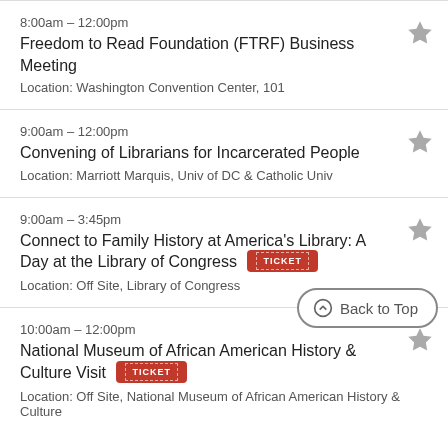8:00am – 12:00pm
Freedom to Read Foundation (FTRF) Business Meeting
Location: Washington Convention Center, 101
9:00am – 12:00pm
Convening of Librarians for Incarcerated People
Location: Marriott Marquis, Univ of DC & Catholic Univ
9:00am – 3:45pm
Connect to Family History at America's Library: A Day at the Library of Congress [TICKET]
Location: Off Site, Library of Congress
10:00am – 12:00pm
National Museum of African American History & Culture Visit [TICKET]
Location: Off Site, National Museum of African American History & Culture